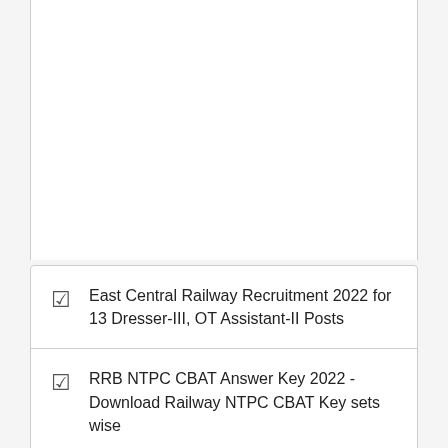East Central Railway Recruitment 2022 for 13 Dresser-III, OT Assistant-II Posts
RRB NTPC CBAT Answer Key 2022 - Download Railway NTPC CBAT Key sets wise
RRB NTPC CBAT Exam Date 2022 Check Railways NTPC CBAT Exam Dates